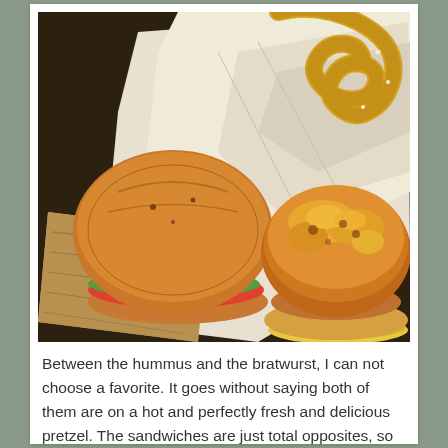[Figure (photo): A tray of food items including a bagel sandwich, a pretzel, a cheesy bratwurst on a pretzel bun with melted cheese, and white paper wrapping, on a wooden board.]
Between the hummus and the bratwurst, I can not choose a favorite. It goes without saying both of them are on a hot and perfectly fresh and delicious pretzel. The sandwiches are just total opposites, so